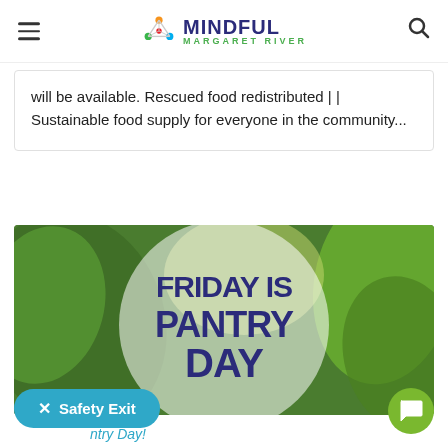Mindful Margaret River
will be available. Rescued food redistributed | | Sustainable food supply for everyone in the community...
[Figure (photo): Friday Is Pantry Day promotional image with dark blue bold text on a white semi-transparent circle overlay, set against green vegetable/leaf background]
✕ Safety Exit
Pantry Day!